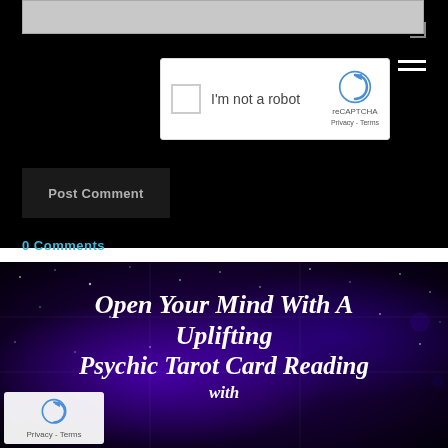[Figure (screenshot): reCAPTCHA widget with checkbox labeled 'I'm not a robot', reCAPTCHA logo and Privacy-Terms text on the right]
[Figure (screenshot): Dark 'Post Comment' button]
0 Comments
Open Your Mind With A Uplifting Psychic Tarot Card Reading with
[Figure (screenshot): Small reCAPTCHA badge with logo and Privacy - Terms text in bottom left corner of the purple starry banner]